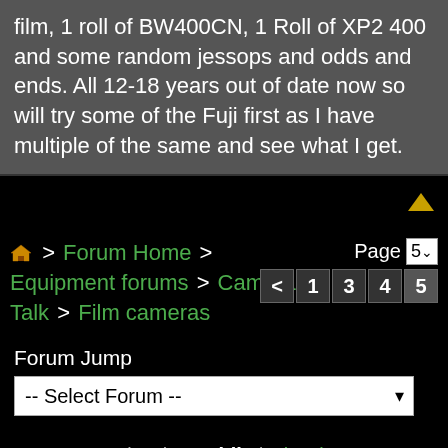film, 1 roll of BW400CN, 1 Roll of XP2 400 and some random jessops and odds and ends. All 12-18 years out of date now so will try some of the Fuji first as I have multiple of the same and see what I get.
> Forum Home > Equipment forums > Camera Talk > Film cameras
Page 5  < 1 3 4 5
Forum Jump
-- Select Forum --
View in: Mobile | Classic